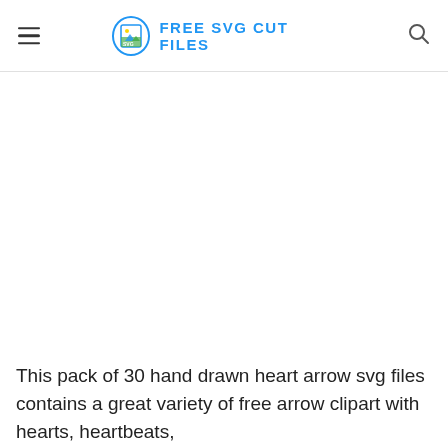FREE SVG CUT FILES
[Figure (logo): Free SVG Cut Files website logo with a blue circle icon containing an SVG image symbol and bold blue uppercase text 'FREE SVG CUT FILES']
This pack of 30 hand drawn heart arrow svg files contains a great variety of free arrow clipart with hearts, heartbeats,